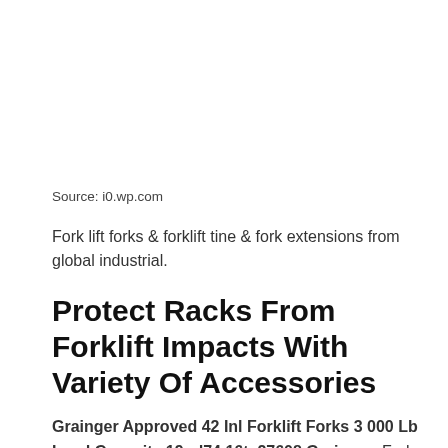Source: i0.wp.com
Fork lift forks & forklift tine & fork extensions from global industrial.
Protect Racks From Forklift Impacts With Variety Of Accessories
Grainger Approved 42 Inl Forklift Forks 3 000 Lb Load Capacity 19nd74 16ta27608 Grainger. Fork blade protectors are available in two colors to cover unsightly fork truck forks. A forklift is a powerful tool that allows one person to precisely lift and place large heavy loads with little effort. Manufacturer of forklift load